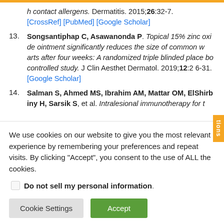h contact allergens. Dermatitis. 2015;26:32-7. [CrossRef] [PubMed] [Google Scholar]
13. Songsantiphap C, Asawanonda P. Topical 15% zinc oxide ointment significantly reduces the size of common warts after four weeks: A randomized triple blinded placebo controlled study. J Clin Aesthet Dermatol. 2019;12:26-31. [Google Scholar]
14. Salman S, Ahmed MS, Ibrahim AM, Mattar OM, ElShirbiny H, Sarsik S, et al. Intralesional immunotherapy for t
We use cookies on our website to give you the most relevant experience by remembering your preferences and repeat visits. By clicking "Accept", you consent to the use of ALL the cookies.
Do not sell my personal information
Cookie Settings | Accept